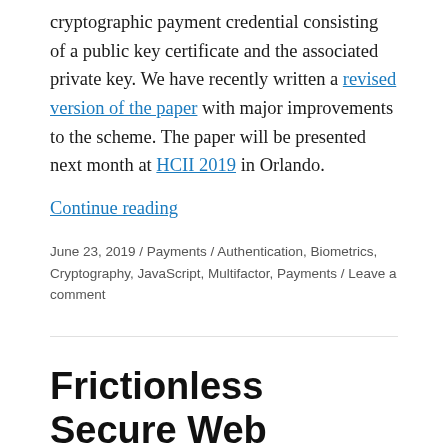cryptographic payment credential consisting of a public key certificate and the associated private key. We have recently written a revised version of the paper with major improvements to the scheme. The paper will be presented next month at HCII 2019 in Orlando.
Continue reading
June 23, 2019 / Payments / Authentication, Biometrics, Cryptography, JavaScript, Multifactor, Payments / Leave a comment
Frictionless Secure Web Payments without Giving up on Cardholder